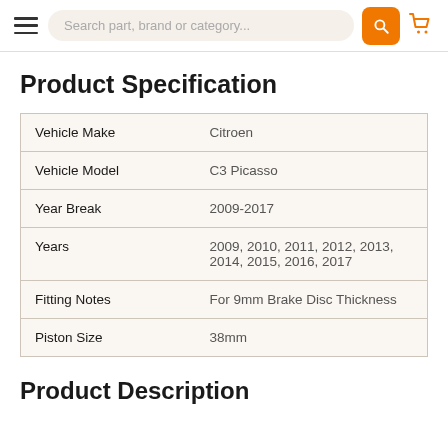Search part, brand or category...
Product Specification
| Vehicle Make | Citroen |
| Vehicle Model | C3 Picasso |
| Year Break | 2009-2017 |
| Years | 2009, 2010, 2011, 2012, 2013, 2014, 2015, 2016, 2017 |
| Fitting Notes | For 9mm Brake Disc Thickness |
| Piston Size | 38mm |
Product Description